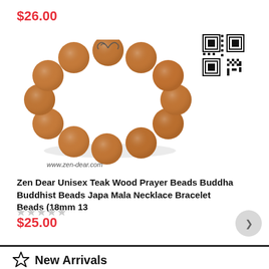$26.00
[Figure (photo): A bracelet made of large round brown teak wood beads arranged in a circle, with a small string tie at the top. A QR code is visible in the upper right of the product image area. Website URL 'www.zen-dear.com' appears below the bracelet.]
Zen Dear Unisex Teak Wood Prayer Beads Buddha Buddhist Beads Japa Mala Necklace Bracelet Beads (18mm 13
$25.00
New Arrivals